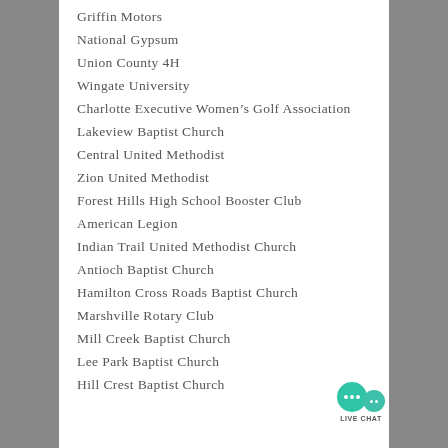Griffin Motors
National Gypsum
Union County 4H
Wingate University
Charlotte Executive Women’s Golf Association
Lakeview Baptist Church
Central United Methodist
Zion United Methodist
Forest Hills High School Booster Club
American Legion
Indian Trail United Methodist Church
Antioch Baptist Church
Hamilton Cross Roads Baptist Church
Marshville Rotary Club
Mill Creek Baptist Church
Lee Park Baptist Church
Hill Crest Baptist Church
[Figure (other): Live chat button with two overlapping speech bubbles in teal/green color and LIVE CHAT label below]